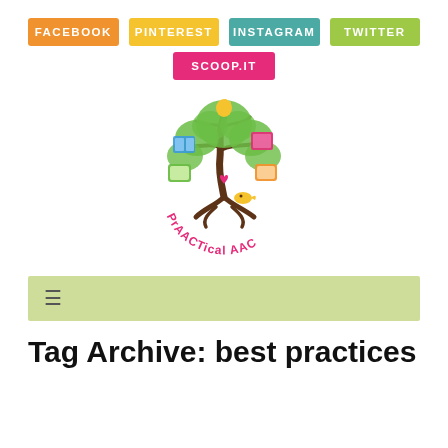FACEBOOK | PINTEREST | INSTAGRAM | TWITTER | SCOOP.IT
[Figure (logo): PrAACTical AAC logo — a decorative tree with communication devices and AAC-related icons as leaves/branches, with the text 'PrAACTical AAC' in pink around the base]
≡
Tag Archive: best practices